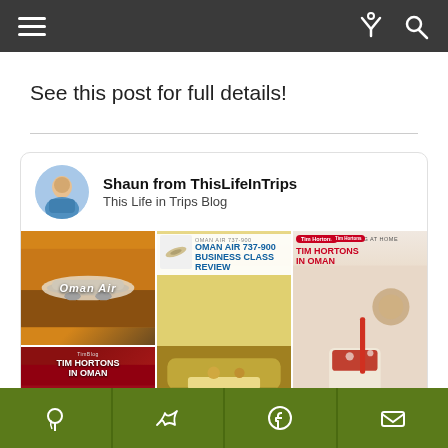Navigation bar with menu and search icons
See this post for full details!
[Figure (screenshot): Blog card for 'Shaun from ThisLifeInTrips' – This Life in Trips Blog, with a grid of travel blog post thumbnails including Oman Air, Tim Hortons in Oman articles]
Social share buttons: Pinterest, Twitter, Facebook, Email